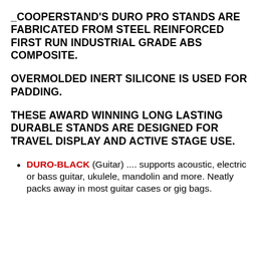COOPERSTAND'S DURO PRO STANDS ARE FABRICATED FROM STEEL REINFORCED FIRST RUN INDUSTRIAL GRADE ABS COMPOSITE.
OVERMOLDED INERT SILICONE IS USED FOR PADDING.
THESE AWARD WINNING LONG LASTING DURABLE STANDS ARE DESIGNED FOR TRAVEL DISPLAY AND ACTIVE STAGE USE.
DURO-BLACK (Guitar) .... supports acoustic, electric or bass guitar, ukulele, mandolin and more. Neatly packs away in most guitar cases or gig bags.